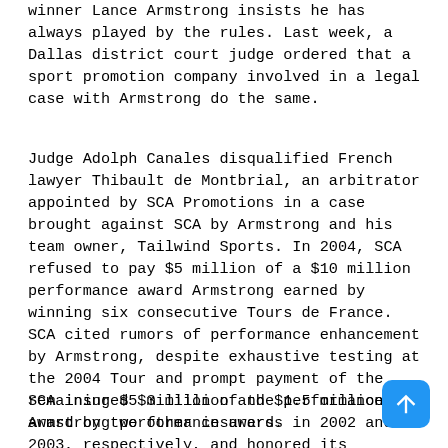winner Lance Armstrong insists he has always played by the rules. Last week, a Dallas district court judge ordered that a sport promotion company involved in a legal case with Armstrong do the same.
Judge Adolph Canales disqualified French lawyer Thibault de Montbrial, an arbitrator appointed by SCA Promotions in a case brought against SCA by Armstrong and his team owner, Tailwind Sports. In 2004, SCA refused to pay $5 million of a $10 million performance award Armstrong earned by winning six consecutive Tours de France. SCA cited rumors of performance enhancement by Armstrong, despite exhaustive testing at the 2004 Tour and prompt payment of the remaining $5 million of the performance award by two other insurers.
SCA insured $3 million and $1.5 million Armstrong performance awards in 2002 and 2003, respectively, and honored its